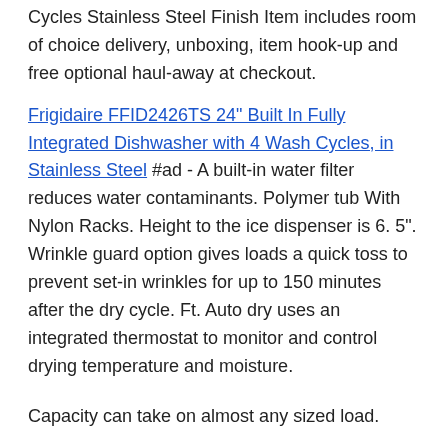Cycles Stainless Steel Finish Item includes room of choice delivery, unboxing, item hook-up and free optional haul-away at checkout.
Frigidaire FFID2426TS 24" Built In Fully Integrated Dishwasher with 4 Wash Cycles, in Stainless Steel #ad - A built-in water filter reduces water contaminants. Polymer tub With Nylon Racks. Height to the ice dispenser is 6. 5". Wrinkle guard option gives loads a quick toss to prevent set-in wrinkles for up to 150 minutes after the dry cycle. Ft. Auto dry uses an integrated thermostat to monitor and control drying temperature and moisture.
Capacity can take on almost any sized load.